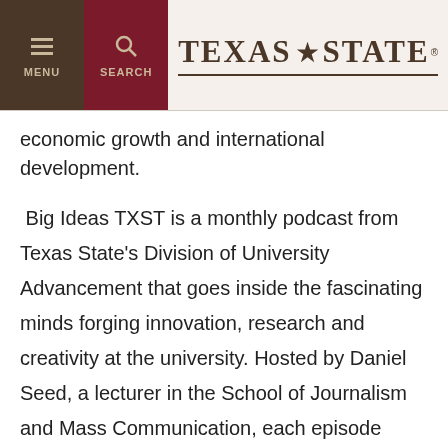TEXAS STATE
economic growth and international development.
Big Ideas TXST is a monthly podcast from Texas State's Division of University Advancement that goes inside the fascinating minds forging innovation, research and creativity at the university. Hosted by Daniel Seed, a lecturer in the School of Journalism and Mass Communication, each episode features thoughtful interviews and discussion with the thought leaders developing innovative ideas to make the world a better place.